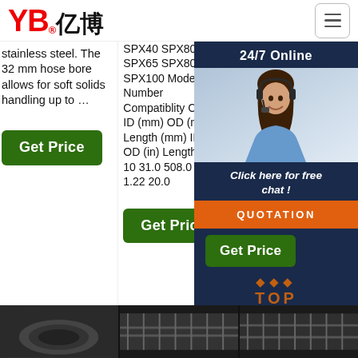[Figure (logo): YB亿博 company logo in red with registered trademark symbol]
stainless steel. The 32 mm hose bore allows for soft solids handling up to …
SPX40 SPX80 SPX65 SPX80 SPX100 Model Number Compatiblity Chart ID (mm) OD (mm) Length (mm) ID (in) OD (in) Length (in) 10 31.0 508.0 0.39 1.22 20.0
pump of up to 10 Bar/230 PSI for all pu... Tec Data DIA LEN Inter mm mm 5 3... 20 0...
[Figure (photo): Customer service agent photo with 24/7 Online overlay and chat panel]
Get Price
Get Price
Get Price
QUOTATION
[Figure (photo): Bottom row of three product hose photos]